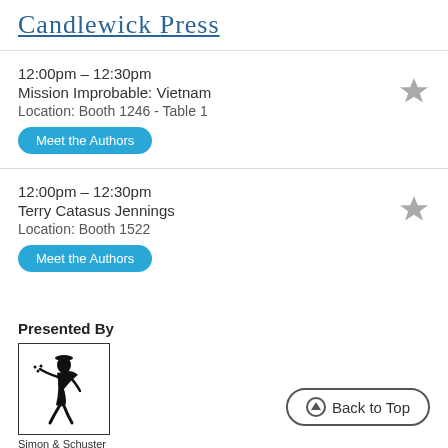Candlewick Press
12:00pm – 12:30pm
Mission Improbable: Vietnam
Location: Booth 1246 - Table 1
Meet the Authors
12:00pm – 12:30pm
Terry Catasus Jennings
Location: Booth 1522
Meet the Authors
Presented By
[Figure (logo): Simon & Schuster logo — silhouette of a person walking/dancing inside a bordered square, with 'Simon & Schuster' text below]
Back to Top
12:00pm – 12:45pm